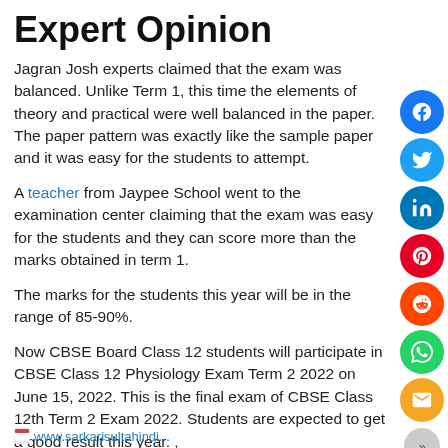Expert Opinion
Jagran Josh experts claimed that the exam was balanced. Unlike Term 1, this time the elements of theory and practical were well balanced in the paper. The paper pattern was exactly like the sample paper and it was easy for the students to attempt.
A teacher from Jaypee School went to the examination center claiming that the exam was easy for the students and they can score more than the marks obtained in term 1.
The marks for the students this year will be in the range of 85-90%.
Now CBSE Board Class 12 students will participate in CBSE Class 12 Physiology Exam Term 2 2022 on June 15, 2022. This is the final exam of CBSE Class 12th Term 2 Exam 2022. Students are expected to get a good result this year. ,
www.sarkarisultahindi...